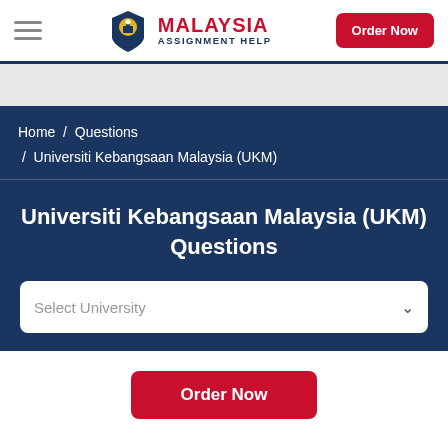Malaysia Assignment Help — Order Now
Home / Questions / Universiti Kebangsaan Malaysia (UKM)
Universiti Kebangsaan Malaysia (UKM) Questions
Select University
Order Now